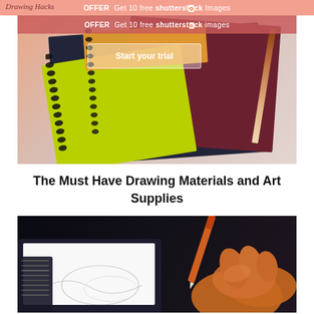Drawing Hacks — OFFER Get 10 free Shutterstock Images — Start your trial
[Figure (photo): Close-up photo of stacked spiral-bound notebooks in dark navy, maroon, yellow-green, and orange colors with a wooden pencil resting on top, pink/beige background]
The Must Have Drawing Materials and Art Supplies
[Figure (photo): Close-up photo of a hand holding an orange stylus/pencil drawing on a digital drawing tablet, with drawing software visible in the background, dark background]